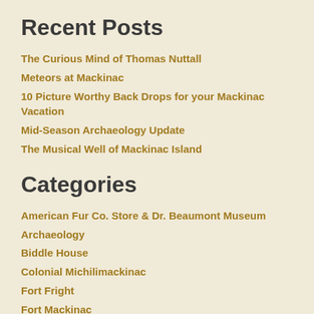Recent Posts
The Curious Mind of Thomas Nuttall
Meteors at Mackinac
10 Picture Worthy Back Drops for your Mackinac Vacation
Mid-Season Archaeology Update
The Musical Well of Mackinac Island
Categories
American Fur Co. Store & Dr. Beaumont Museum
Archaeology
Biddle House
Colonial Michilimackinac
Fort Fright
Fort Mackinac
Historic Mill Creek Discovery Park